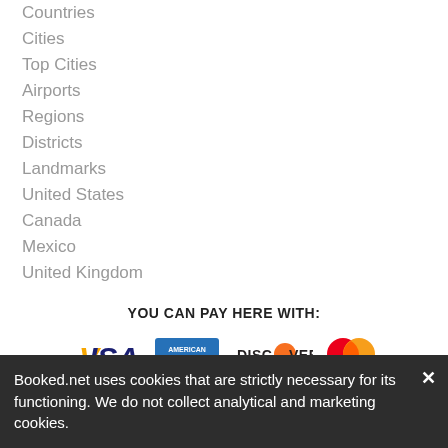Countries
Cities
Top Cities
Airports
Regions
Districts
Landmarks
United States
Canada
Mexico
United Kingdom
YOU CAN PAY HERE WITH:
[Figure (logo): Payment logos: Visa, American Express, Discover, Mastercard]
Booked.net uses cookies that are strictly necessary for its functioning. We do not collect analytical and marketing cookies.
© 2022 Booked.net. All rights reserved